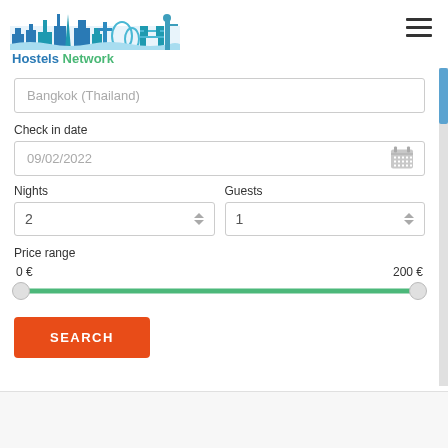[Figure (logo): Hostels Network logo with blue city skyline silhouette and text 'Hostels Network']
[Figure (other): Hamburger menu icon (three horizontal lines) in top right corner]
Bangkok (Thailand)
Check in date
09/02/2022
Nights
2
Guests
1
Price range
0 €
200 €
SEARCH